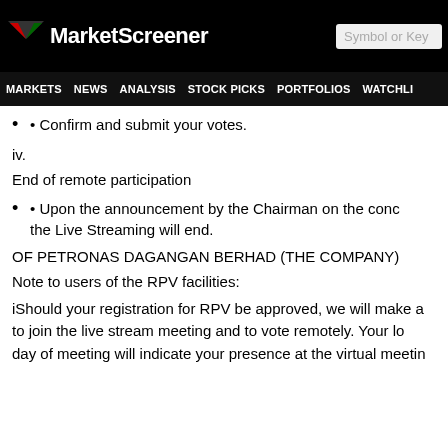MarketScreener | Symbol or Key
MARKETS NEWS ANALYSIS STOCK PICKS PORTFOLIOS WATCHLI
• Confirm and submit your votes.
iv.
End of remote participation
• Upon the announcement by the Chairman on the conclusion of the meeting, the Live Streaming will end.
OF PETRONAS DAGANGAN BERHAD (THE COMPANY)
Note to users of the RPV facilities:
iShould your registration for RPV be approved, we will make available a link to join the live stream meeting and to vote remotely. Your logging in on the day of meeting will indicate your presence at the virtual meeting.